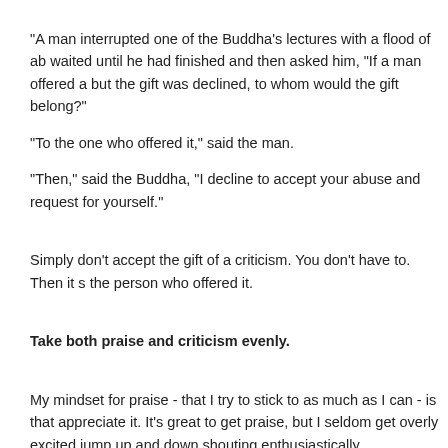"A man interrupted one of the Buddha's lectures with a flood of ab waited until he had finished and then asked him, "If a man offered a but the gift was declined, to whom would the gift belong?"
"To the one who offered it," said the man.
"Then," said the Buddha, "I decline to accept your abuse and request for yourself."
Simply don't accept the gift of a criticism. You don't have to. Then it s the person who offered it.
Take both praise and criticism evenly.
My mindset for praise - that I try to stick to as much as I can - is that appreciate it. It's great to get praise, but I seldom get overly excited jump up and down shouting enthusiastically.
A great upside of this mindset is that when you receive the oppos criticism - you can often observe it calmly without too much wild, nega bidding the person for the person for me and to take the place of it b